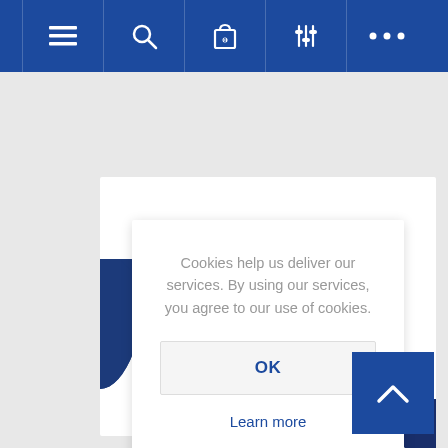[Figure (screenshot): Blue navigation bar with hamburger menu, search, shopping bag (0), filter/settings, and more (ellipsis) icons on white icon buttons]
Cookies help us deliver our services. By using our services, you agree to our use of cookies.
OK
Learn more